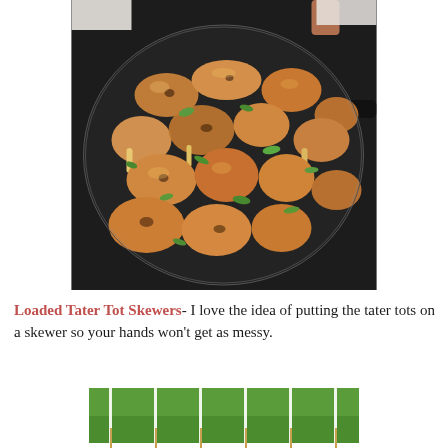[Figure (photo): Cast iron skillet filled with cooked chicken wings garnished with sliced green onions, photographed from above on a marble surface.]
Loaded Tater Tot Skewers- I love the idea of putting the tater tots on a skewer so your hands won't get as messy.
[Figure (photo): Bottom portion of a photo showing a green football field surface with white yard lines and wooden skewers arranged vertically.]